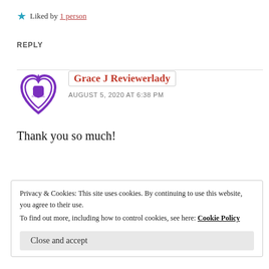★ Liked by 1 person
REPLY
[Figure (logo): Purple heart-shaped logo with text 'Grace J Reviewerlady' and an open book icon inside]
Grace J Reviewerlady
AUGUST 5, 2020 AT 6:38 PM
Thank you so much!
Privacy & Cookies: This site uses cookies. By continuing to use this website, you agree to their use.
To find out more, including how to control cookies, see here: Cookie Policy
Close and accept